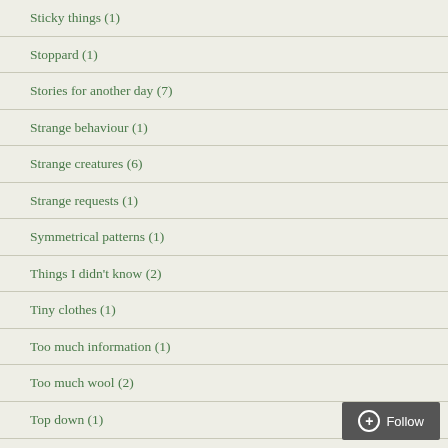Sticky things (1)
Stoppard (1)
Stories for another day (7)
Strange behaviour (1)
Strange creatures (6)
Strange requests (1)
Symmetrical patterns (1)
Things I didn't know (2)
Tiny clothes (1)
Too much information (1)
Too much wool (2)
Top down (1)
Toys (8)
Tractor racing (1)
Tree (6)